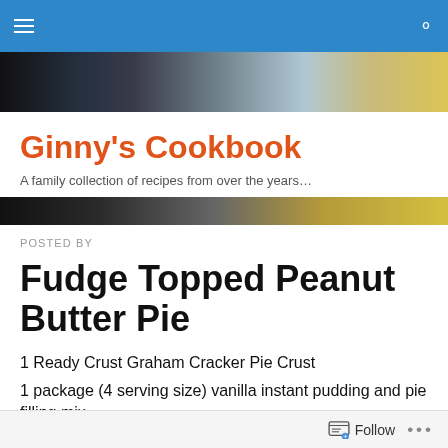Ginny's Cookbook — navigation bar
[Figure (photo): Header banner image with dark and golden tones]
Ginny's Cookbook
A family collection of recipes from over the years…
[Figure (photo): Second decorative header image bar with dark and golden tones]
POSTED BY
Fudge Topped Peanut Butter Pie
1 Ready Crust Graham Cracker Pie Crust
1 package (4 serving size) vanilla instant pudding and pie filling mix
Follow